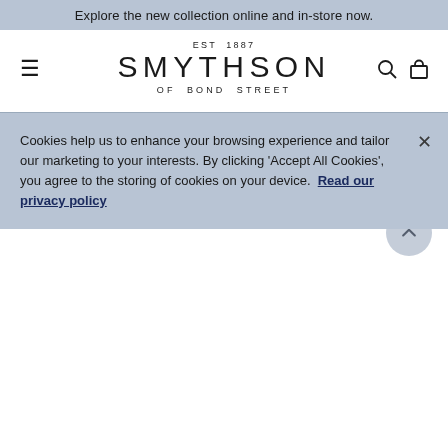Explore the new collection online and in-store now.
[Figure (logo): Smythson of Bond Street logo with EST 1887, hamburger menu icon, search icon, and bag icon]
The Business Edit
Redefine your weekday. Our classic desk accessories, stationery and notebooks will elevate your workspace, while our briefcases and business bags are crafted for an effortless commute.
Cookies help us to enhance your browsing experience and tailor our marketing to your interests. By clicking 'Accept All Cookies', you agree to the storing of cookies on your device. Read our privacy policy